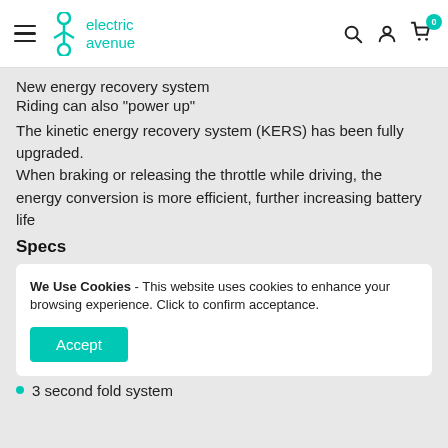electric avenue — navigation header with hamburger menu, search, account, and cart icons
New energy recovery system
Riding can also "power up"
The kinetic energy recovery system (KERS) has been fully upgraded. When braking or releasing the throttle while driving, the energy conversion is more efficient, further increasing battery life
Specs
We Use Cookies - This website uses cookies to enhance your browsing experience. Click to confirm acceptance.
3 second fold system